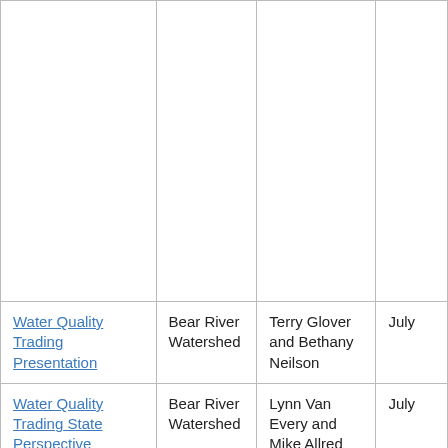|  |  |  |  |
| Water Quality Trading Presentation | Bear River Watershed | Terry Glover and Bethany Neilson | July |
| Water Quality Trading State Perspective | Bear River Watershed | Lynn Van Every and Mike Allred | July |
| Water quality in the Bear River basin of Utah, Idaho, and Wyoming prior to and following snowmelt runoff in 2001 | Bear River Watershed | Steven Gerner and Larry Spangler | Ma 200 |